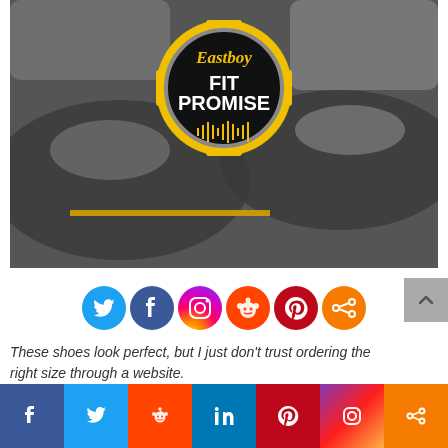[Figure (photo): Black and white photo of sneakers/basketball shoes with Eastboy Fit Promise badge overlay - circular badge with yellow border, black background, showing 'Eastboy' in yellow script and 'FIT PROMISE' in white bold text]
[Figure (infographic): Row of social media share icons: Twitter (blue), Facebook (dark blue), Instagram (gradient), Reddit (orange-red), Pinterest (red), Share (orange)]
These shoes look perfect, but I just don't trust ordering the right size through a website.
[Figure (infographic): Bottom social sharing bar with Facebook, Twitter, Reddit, LinkedIn, Pinterest, Instagram, and Share buttons in their brand colors]